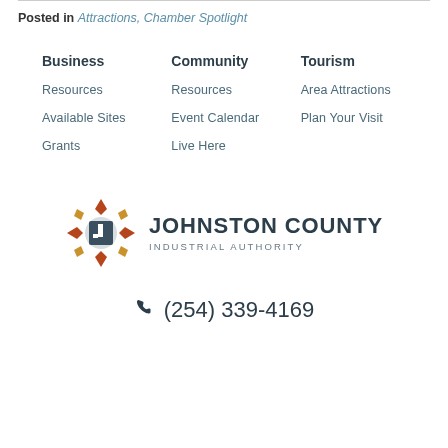Posted in Attractions, Chamber Spotlight
Business
Resources
Available Sites
Grants
Community
Resources
Event Calendar
Live Here
Tourism
Area Attractions
Plan Your Visit
[Figure (logo): Johnston County Industrial Authority logo with geometric diamond/cross symbol in brown and gold, with bold dark text JOHNSTON COUNTY and spaced subtitle INDUSTRIAL AUTHORITY]
(254) 339-4169